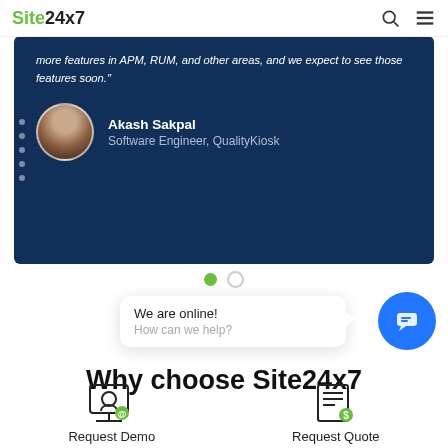Site24x7
more features in APM, RUM, and other areas, and we expect to see those features soon."
Akash Sakpal
Software Engineer, QualityKiosk
[Figure (other): Carousel pagination dots: one green filled dot and one hollow grey dot]
[Figure (other): Live chat widget: speech bubble showing 'We are online! How can we help?' and a blue circular chat button with chat icon]
Why choose Site24x7
[Figure (infographic): Request Demo icon - monitor with person silhouette and green notification badge]
Request Demo
[Figure (infographic): Request Quote icon - document/list icon with green notification badge]
Request Quote